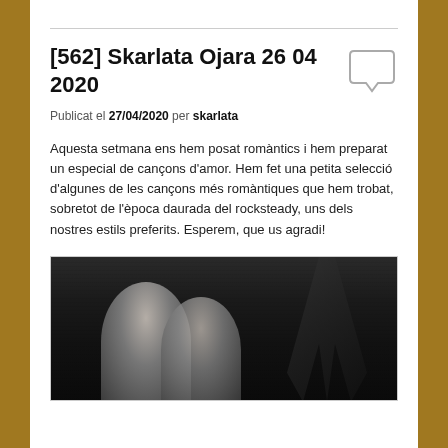[562] Skarlata Ojara 26 04 2020
Publicat el 27/04/2020 per skarlata
Aquesta setmana ens hem posat romàntics i hem preparat un especial de cançons d'amor. Hem fet una petita selecció d'algunes de les cançons més romàntiques que hem trobat, sobretot de l'època daurada del rocksteady, uns dels nostres estils preferits. Esperem, que us agradi!
[Figure (photo): Black and white photograph of two people leaning together with a palm plant in the background]